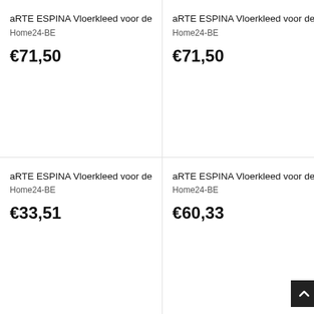aRTE ESPINA Vloerkleed voor de
Home24-BE
€71,50
aRTE ESPINA Vloerkleed voor de
Home24-BE
€71,50
aRTE ESPINA Vloerkleed voor de
Home24-BE
€33,51
aRTE ESPINA Vloerkleed voor de
Home24-BE
€60,33